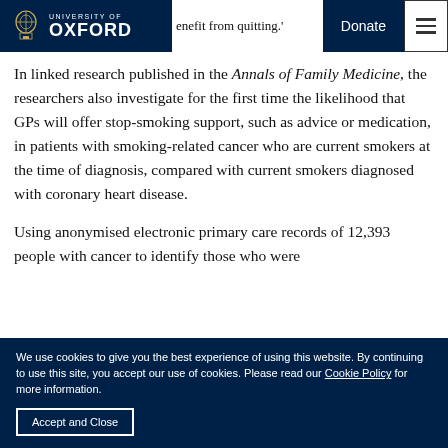shows that even after a diagnosis of lung cancer, benefit from quitting.'
[Figure (logo): University of Oxford logo with crest and wordmark on dark navy background]
In linked research published in the Annals of Family Medicine, the researchers also investigate for the first time the likelihood that GPs will offer stop-smoking support, such as advice or medication, in patients with smoking-related cancer who are current smokers at the time of diagnosis, compared with current smokers diagnosed with coronary heart disease.
Using anonymised electronic primary care records of 12,393 people with cancer to identify those who were
We use cookies to give you the best experience of using this website. By continuing to use this site, you accept our use of cookies. Please read our Cookie Policy for more information.
Accept and Close